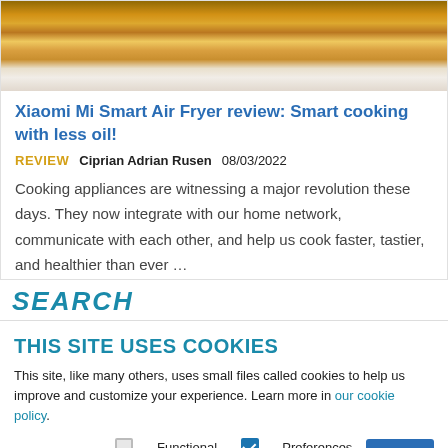[Figure (photo): Food photography showing air fryer with fried food items on a rack, with plated food visible on the right side]
Xiaomi Mi Smart Air Fryer review: Smart cooking with less oil!
REVIEW   Ciprian Adrian Rusen   08/03/2022
Cooking appliances are witnessing a major revolution these days. They now integrate with our home network, communicate with each other, and help us cook faster, tastier, and healthier than ever …
SEARCH
THIS SITE USES COOKIES
This site, like many others, uses small files called cookies to help us improve and customize your experience. Learn more in our cookie policy.
Select cookies:  Functional  Preferences  Analytics  Marketing